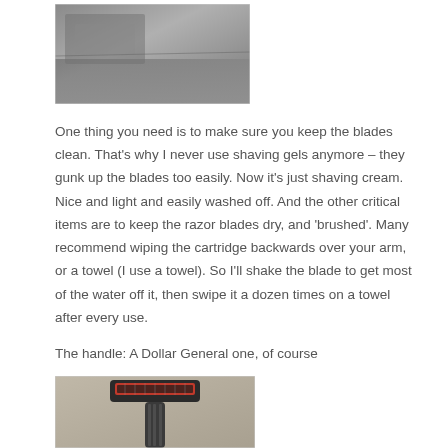[Figure (photo): Close-up photo of a razor blade or shaving surface, gray/dark tones]
One thing you need is to make sure you keep the blades clean. That’s why I never use shaving gels anymore – they gunk up the blades too easily. Now it’s just shaving cream. Nice and light and easily washed off. And the other critical items are to keep the razor blades dry, and ‘brushed’. Many recommend wiping the cartridge backwards over your arm, or a towel (I use a towel). So I’ll shake the blade to get most of the water off it, then swipe it a dozen times on a towel after every use.
The handle: A Dollar General one, of course
[Figure (photo): Photo of a razor handle with a red and black cartridge head, Dollar General brand]